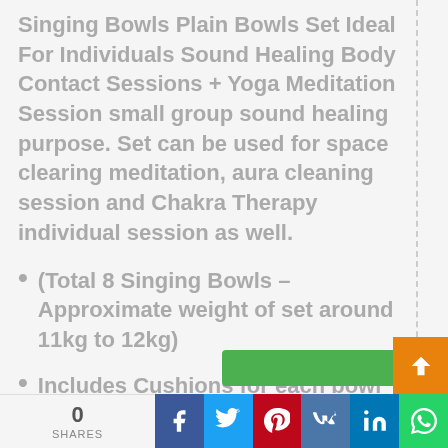Singing Bowls Plain Bowls Set Ideal For Individuals Sound Healing Body Contact Sessions + Yoga Meditation Session small group sound healing purpose. Set can be used for space clearing meditation, aura cleaning session and Chakra Therapy individual session as well.
(Total 8 Singing Bowls – Approximate weight of set around 11kg to 12kg)
Includes Cushions for each bowl + 3 different types sticks (Hard sticks, Soft Mallets & Drum sticks in different sizes – Total 11 Sticks + 8
0 SHARES | Facebook | Twitter | Pinterest | VK | LinkedIn | WhatsApp